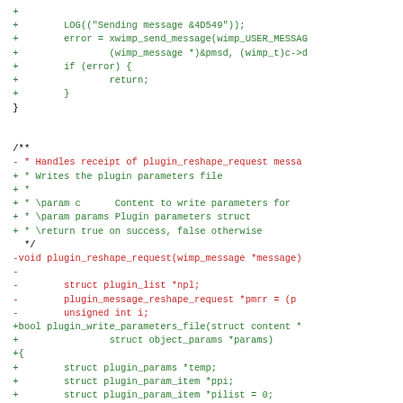[Figure (screenshot): Code diff snippet showing removed and added lines in a C source file. Green lines are additions (+), red lines are deletions (-). Shows function signature changes from plugin_reshape_request to plugin_write_parameters_file, with corresponding parameter and local variable changes.]